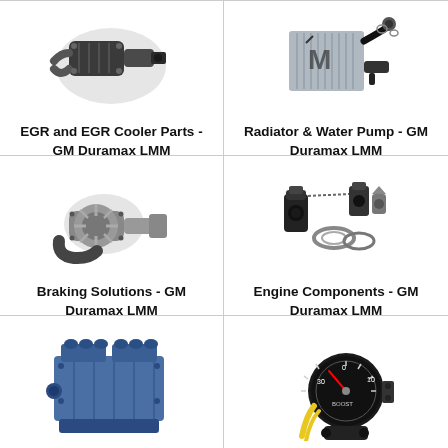[Figure (photo): EGR and EGR Cooler parts photo for GM Duramax LMM]
EGR and EGR Cooler Parts - GM Duramax LMM
[Figure (photo): Radiator and water pump parts photo for GM Duramax LMM]
Radiator & Water Pump - GM Duramax LMM
[Figure (photo): Braking solutions parts photo for GM Duramax LMM]
Braking Solutions - GM Duramax LMM
[Figure (photo): Engine components photo for GM Duramax LMM]
Engine Components - GM Duramax LMM
[Figure (photo): Complete engine block photo for GM Duramax LMM]
[Figure (photo): Gauge/instrument photo for GM Duramax LMM]